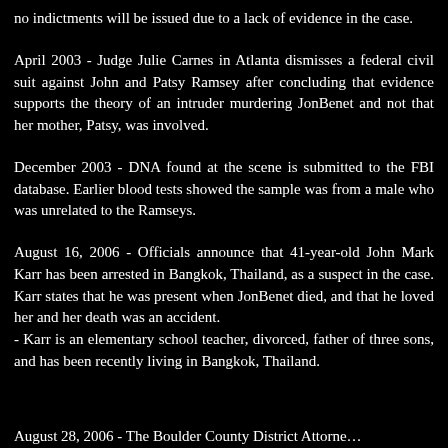no indictments will be issued due to a lack of evidence in the case.
April 2003 - Judge Julie Carnes in Atlanta dismisses a federal civil suit against John and Patsy Ramsey after concluding that evidence supports the theory of an intruder murdering JonBenet and not that her mother, Patsy, was involved.
December 2003 - DNA found at the scene is submitted to the FBI database. Earlier blood tests showed the sample was from a male who was unrelated to the Ramseys.
August 16, 2006 - Officials announce that 41-year-old John Mark Karr has been arrested in Bangkok, Thailand, as a suspect in the case. Karr states that he was present when JonBenet died, and that he loved her and her death was an accident.
- Karr is an elementary school teacher, divorced, father of three sons, and has been recently living in Bangkok, Thailand.
August 28, 2006 - The Boulder County District Attorne…